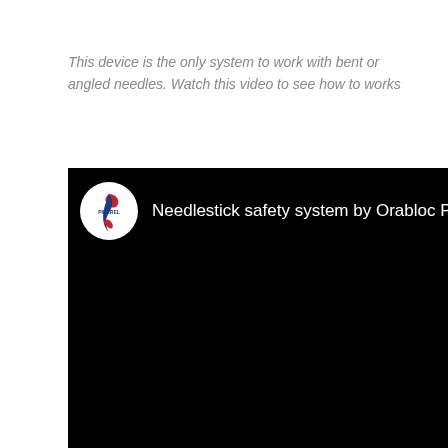This device is the only system to work with bent or angled needles.  Watch this video to see how to works
[Figure (screenshot): Screenshot of a YouTube video thumbnail showing 'Needlestick safety system by Orabloc P...' with the Pierrel logo (circular icon with red and blue design) on a black background.]